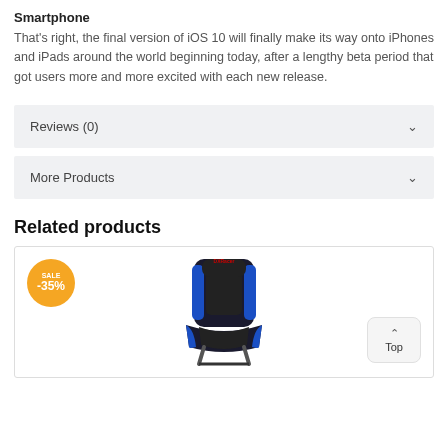Smartphone
That's right, the final version of iOS 10 will finally make its way onto iPhones and iPads around the world beginning today, after a lengthy beta period that got users more and more excited with each new release.
Reviews (0)
More Products
Related products
[Figure (photo): A gaming chair (black and blue) shown from the front, with a -35% sale badge on the top left of the product card and a 'Top' back-to-top button on the bottom right.]